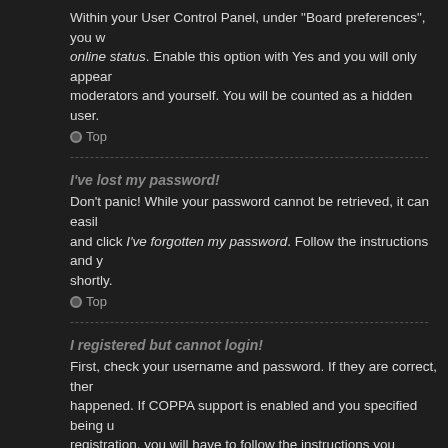Within your User Control Panel, under "Board preferences", you will find the option Hide your online status. Enable this option with Yes and you will only appear to administrators, moderators and yourself. You will be counted as a hidden user.
Top
---
I've lost my password!
Don't panic! While your password cannot be retrieved, it can easily be reset. Visit the login page and click I've forgotten my password. Follow the instructions and you should be able to log in again shortly.
Top
---
I registered but cannot login!
First, check your username and password. If they are correct, then one of two things may have happened. If COPPA support is enabled and you specified being under 13 years old during registration, you will have to follow the instructions you received. Some boards will also require new registrations to be activated, either by yourself or by an administrator before you can logon; this information was present during registration. If you were sent an e-mail, follow the instructions. If you did not receive an e-mail, you may have provided an incorrect e-mail address or the e-mail may have been picked up by a spam filer. If you are sure the e-mail address you provided is correct, try contacting an administrator.
Top